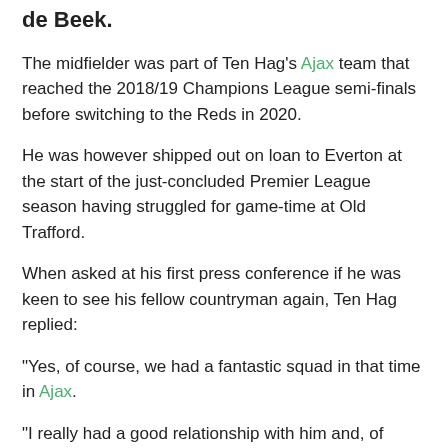de Beek.
The midfielder was part of Ten Hag's Ajax team that reached the 2018/19 Champions League semi-finals before switching to the Reds in 2020.
He was however shipped out on loan to Everton at the start of the just-concluded Premier League season having struggled for game-time at Old Trafford.
When asked at his first press conference if he was keen to see his fellow countryman again, Ten Hag replied:
"Yes, of course, we had a fantastic squad in that time in Ajax.
"I really had a good relationship with him and, of